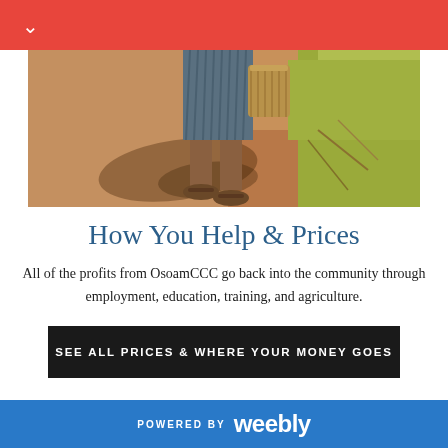[Figure (photo): Photo of a person's lower body and feet walking on a red dirt path, wearing sandals and a blue/grey skirt, carrying a woven basket. Dry grass and red soil visible in background.]
How You Help & Prices
All of the profits from OsoamCCC go back into the community through employment, education, training, and agriculture.
SEE ALL PRICES & WHERE YOUR MONEY GOES
[Figure (photo): Partial view of green foliage/vegetation at bottom of page.]
POWERED BY weebly